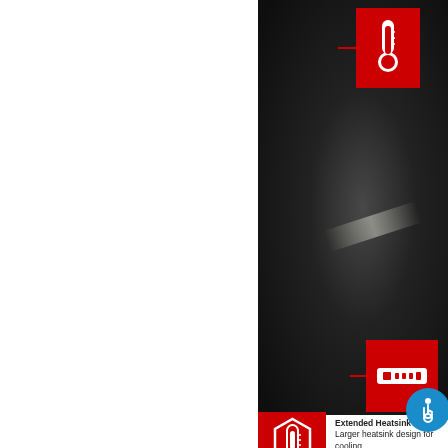[Figure (photo): Dark background product photo (laptop/SSD device) with a glare highlight, occupying the right half of the upper portion of the page. Two red square icons with white symbols are overlaid: a thermometer icon at top right and an SSD/key icon in the middle right area. A blue circular accessibility icon appears at lower right.]
[Figure (illustration): Red square icon with white thermometer/heatsink symbol at bottom left of the feature description row.]
Extended Heatsink Design
Larger heatsink design for cooling performance.